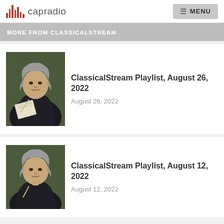capradio | MENU
MORE FROM CLASSICALSTREAM
[Figure (photo): Portrait painting of Beethoven holding sheet music, dark clothing with red scarf]
ClassicalStream Playlist, August 26, 2022
August 26, 2022
[Figure (photo): Portrait painting of Beethoven holding sheet music, dark clothing with red scarf]
ClassicalStream Playlist, August 12, 2022
August 12, 2022